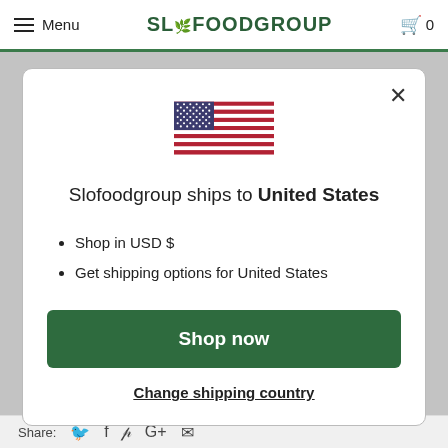Menu  SLOFOODGROUP  0
[Figure (illustration): US flag SVG illustration centered in modal]
Slofoodgroup ships to United States
Shop in USD $
Get shipping options for United States
Shop now
Change shipping country
Share: